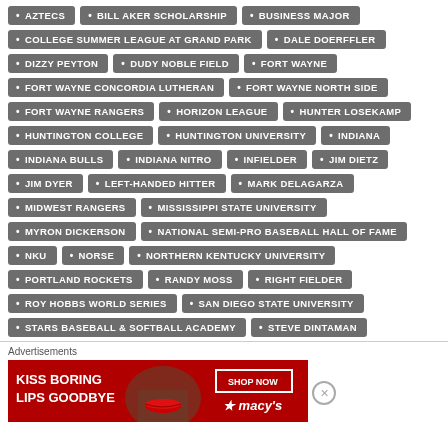AZTECS
BILL AKER SCHOLARSHIP
BUSINESS MAJOR
COLLEGE SUMMER LEAGUE AT GRAND PARK
DALE DOERFFLER
DIZZY PEYTON
DUDY NOBLE FIELD
FORT WAYNE
FORT WAYNE CONCORDIA LUTHERAN
FORT WAYNE NORTH SIDE
FORT WAYNE RANGERS
HORIZON LEAGUE
HUNTER LOSEKAMP
HUNTINGTON COLLEGE
HUNTINGTON UNIVERSITY
INDIANA
INDIANA BULLS
INDIANA NITRO
INFIELDER
JIM DIETZ
JIM DYER
LEFT-HANDED HITTER
MARK DELAGARZA
MIDWEST RANGERS
MISSISSIPPI STATE UNIVERSITY
MYRON DICKERSON
NATIONAL SEMI-PRO BASEBALL HALL OF FAME
NKU
NORSE
NORTHERN KENTUCKY UNIVERSITY
PORTLAND ROCKETS
RANDY MOSS
RIGHT FIELDER
ROY HOBBS WORLD SERIES
SAN DIEGO STATE UNIVERSITY
STARS BASEBALL & SOFTBALL ACADEMY
STEVE DINTAMAN
Advertisements
[Figure (illustration): Macy's advertisement banner: red background with 'KISS BORING LIPS GOODBYE' text, woman's face with red lips, SHOP NOW button, and Macy's star logo]